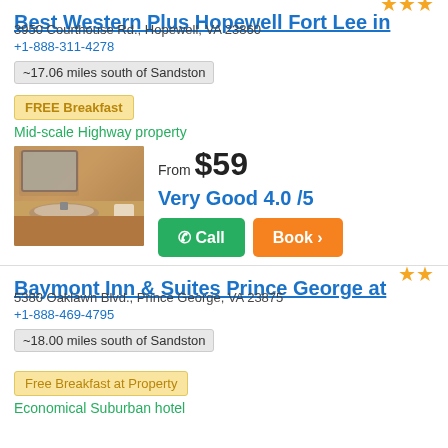Best Western Plus Hopewell Fort Lee in
3950 Courthouse Rd., Hopewell, VA 23860
+1-888-311-4278
~17.06 miles south of Sandston
FREE Breakfast
Mid-scale Highway property
[Figure (photo): Hotel bathroom with sink and countertop]
From $59
Very Good 4.0 /5
Baymont Inn & Suites Prince George at
5380 Oaklawn Blvd., Prince George, VA 23875
+1-888-469-4795
~18.00 miles south of Sandston
Free Breakfast at Property
Economical Suburban hotel